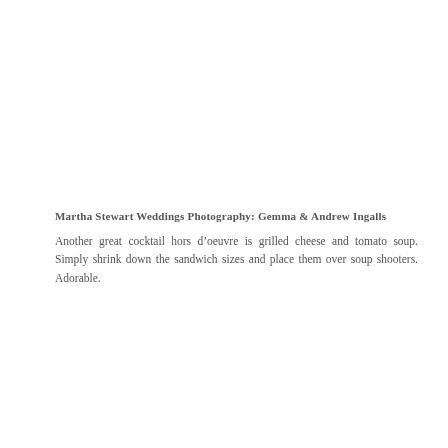Martha Stewart Weddings Photography: Gemma & Andrew Ingalls
Another great cocktail hors d'oeuvre is grilled cheese and tomato soup. Simply shrink down the sandwich sizes and place them over soup shooters. Adorable.